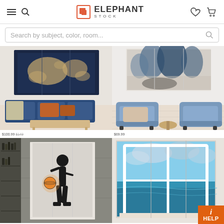ElephantStock - navigation header with hamburger menu, search, logo, wishlist and cart icons
Search by subject, color, room...
[Figure (screenshot): E-commerce product grid showing 4 canvas wall art products: top-left world map canvas above blue sofa, top-right abstract blue forest canvas above blue armchairs, bottom-left basketball player Banksy-style canvas in industrial room, bottom-right ocean window view canvas]
$100.99 $149
$69.99
HELP button overlay